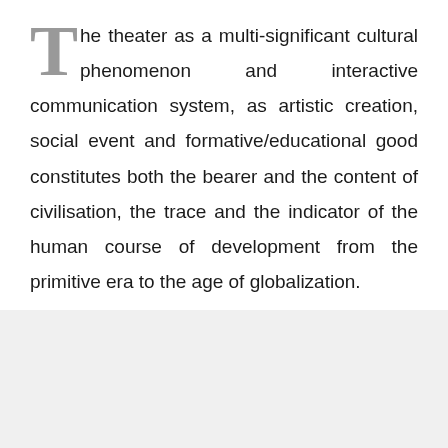The theater as a multi-significant cultural phenomenon and interactive communication system, as artistic creation, social event and formative/educational good constitutes both the bearer and the content of civilisation, the trace and the indicator of the human course of development from the primitive era to the age of globalization.
DECEMBER 10, 2015 • BOOK REVIEW, NEWS • VIEWS: 3653
READ MORE ›